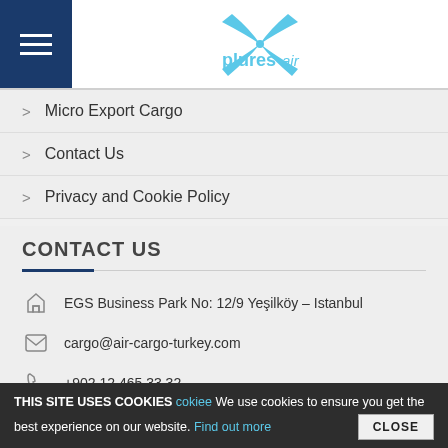[Figure (logo): Plures Air logo with blue X propeller graphic and 'plures air' text]
> Micro Export Cargo
> Contact Us
> Privacy and Cookie Policy
CONTACT US
EGS Business Park No: 12/9 Yeşilköy – Istanbul
cargo@air-cargo-turkey.com
+902 12 465 33 32
THIS SITE USES COOKIES cokiee We use cookies to ensure you get the best experience on our website. Find out more CLOSE